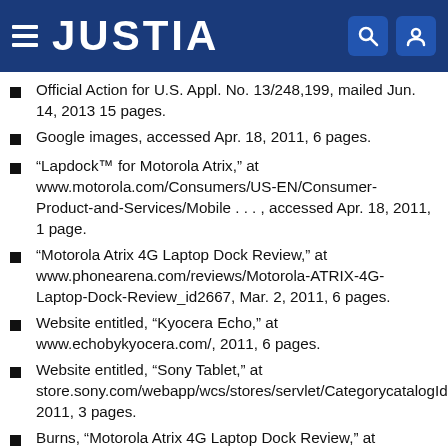JUSTIA
Official Action for U.S. Appl. No. 13/248,199, mailed Jun. 14, 2013 15 pages.
Google images, accessed Apr. 18, 2011, 6 pages.
“Lapdock™ for Motorola Atrix,” at www.motorola.com/Consumers/US-EN/Consumer-Product-and-Services/Mobile . . . , accessed Apr. 18, 2011, 1 page.
“Motorola Atrix 4G Laptop Dock Review,” at www.phonearena.com/reviews/Motorola-ATRIX-4G-Laptop-Dock-Review_id2667, Mar. 2, 2011, 6 pages.
Website entitled, “Kyocera Echo,” at www.echobykyocera.com/, 2011, 6 pages.
Website entitled, “Sony Tablet,” at store.sony.com/webapp/wcs/stores/servlet/CategorycatalogId=10551&storeId=10151&langId=-1&category 2011, 3 pages.
Burns, “Motorola Atrix 4G Laptop Dock Review,” at